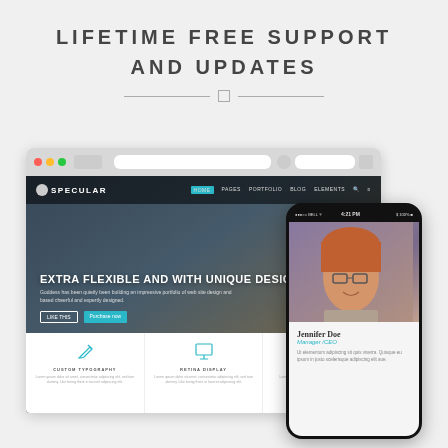LIFETIME FREE SUPPORT
AND UPDATES
[Figure (screenshot): Desktop browser mockup showing the Specular website with hero section reading 'EXTRA FLEXIBLE AND WITH UNIQUE DESIGN' with navigation, teal call-to-action buttons, and feature icons for Custom Typography, Retina Display, and Illustration below. Overlapping phone mockup showing a profile page for Jennifer Doe, Manager/CEO with descriptive lorem ipsum text.]